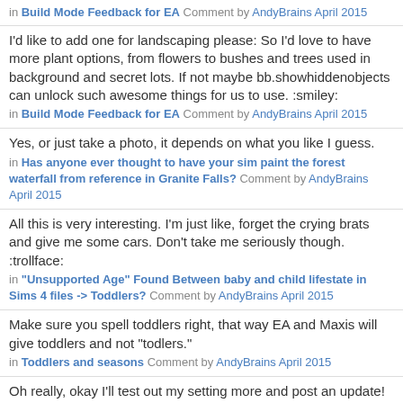in Build Mode Feedback for EA Comment by AndyBrains April 2015
I'd like to add one for landscaping please: So I'd love to have more plant options, from flowers to bushes and trees used in background and secret lots. If not maybe bb.showhiddenobjects can unlock such awesome things for us to use. :smiley:
in Build Mode Feedback for EA Comment by AndyBrains April 2015
Yes, or just take a photo, it depends on what you like I guess.
in Has anyone ever thought to have your sim paint the forest waterfall from reference in Granite Falls? Comment by AndyBrains April 2015
All this is very interesting. I'm just like, forget the crying brats and give me some cars. Don't take me seriously though. :trollface:
in "Unsupported Age" Found Between baby and child lifestate in Sims 4 files -> Toddlers? Comment by AndyBrains April 2015
Make sure you spell toddlers right, that way EA and Maxis will give toddlers and not "todlers."
in Toddlers and seasons Comment by AndyBrains April 2015
Oh really, okay I'll test out my setting more and post an update! Thanks :)
in Graphics performance in OS X - we need your info! Comment by AndyBrains April 2015